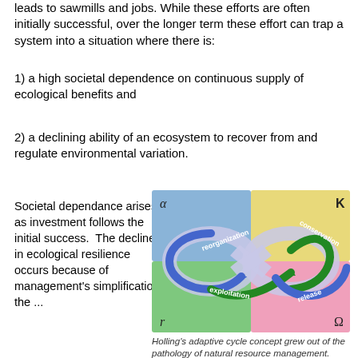leads to sawmills and jobs. While these efforts are often initially successful, over the longer term these effort can trap a system into a situation where there is:
1) a high societal dependence on continuous supply of ecological benefits and
2) a declining ability of an ecosystem to recover from and regulate environmental variation.
Societal dependance arises as investment follows the initial success.  The decline in ecological resilience occurs because of management's simplification the ...
[Figure (infographic): Holling's adaptive cycle diagram showing an infinity-loop shape with four quadrants: alpha (top-left, blue), K (top-right, yellow), r (bottom-left, green), Omega (bottom-right, pink). A twisted loop arrow labeled with 'reorganization' (top, blue arrow), 'conservation' (right, green arrow), 'exploitation' (bottom, blue arrow), 'release' (right-bottom, green arrow) cycles through the quadrants.]
Holling's adaptive cycle concept grew out of the pathology of natural resource management.